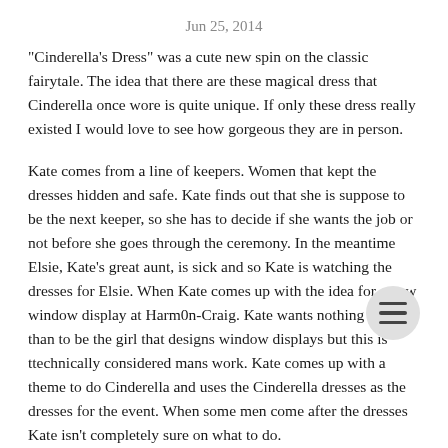Jun 25, 2014
"Cinderella's Dress" was a cute new spin on the classic fairytale. The idea that there are these magical dress that Cinderella once wore is quite unique. If only these dress really existed I would love to see how gorgeous they are in person.
Kate comes from a line of keepers. Women that kept the dresses hidden and safe. Kate finds out that she is suppose to be the next keeper, so she has to decide if she wants the job or not before she goes through the ceremony. In the meantime Elsie, Kate's great aunt, is sick and so Kate is watching the dresses for Elsie. When Kate comes up with the idea for a new window display at Harm0n-Craig. Kate wants nothing else than to be the girl that designs window displays but this is ttechnically considered mans work. Kate comes up with a theme to do Cinderella and uses the Cinderella dresses as the dresses for the event. When some men come after the dresses Kate isn't completely sure on what to do.